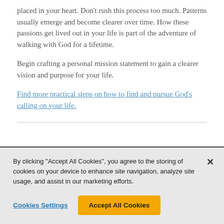placed in your heart. Don't rush this process too much. Patterns usually emerge and become clearer over time. How these passions get lived out in your life is part of the adventure of walking with God for a lifetime.
Begin crafting a personal mission statement to gain a clearer vision and purpose for your life.
Find more practical steps on how to find and pursue God's calling on your life.
By clicking “Accept All Cookies”, you agree to the storing of cookies on your device to enhance site navigation, analyze site usage, and assist in our marketing efforts.
Cookies Settings | Accept All Cookies